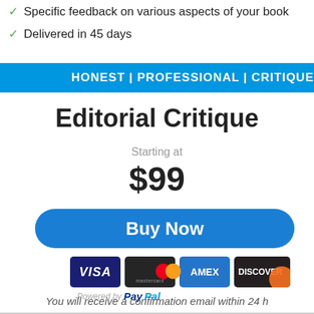✅ Specific feedback on various aspects of your book
✅ Delivered in 45 days
HONEST | PROFESSIONAL | CRITIQUE
Editorial Critique
Starting at
$99
[Figure (other): Buy Now button - blue rounded rectangle with white text]
[Figure (other): Payment logos: VISA, Mastercard, AMEX, DISCOVER, Powered by PayPal]
You will receive a confirmation email within 24 h